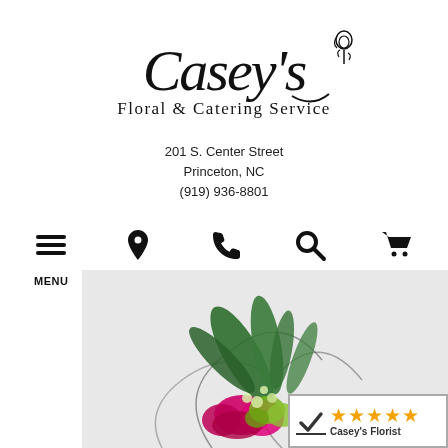[Figure (logo): Casey's Floral & Catering Service logo with script text, rose icon, and address: 201 S. Center Street, Princeton, NC (919) 936-8801]
[Figure (infographic): Navigation bar with icons: MENU (hamburger), DIRECTIONS (map pin), CALL (phone), SEARCH (magnifier), CART (shopping cart)]
[Figure (photo): Floral arrangement with green leaves, magenta flowers, green orchids, and curling stems on a light gray background]
[Figure (other): 5-star rating badge with checkmark logo and text 'Casey's Florist']